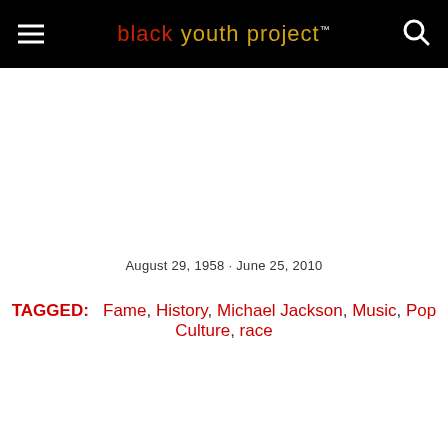black youth project™
August 29, 1958 · June 25, 2010
TAGGED: Fame, History, Michael Jackson, Music, Pop Culture, race